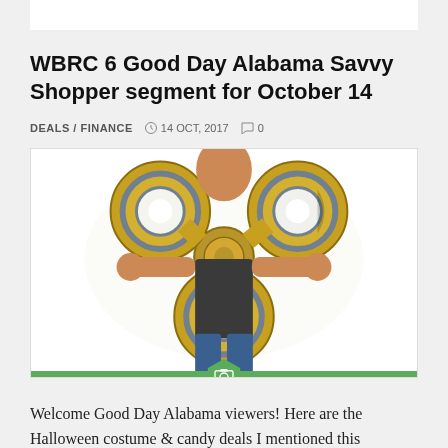WBRC 6 Good Day Alabama Savvy Shopper segment for October 14
DEALS / FINANCE  ⊙ 14 OCT, 2017  💬 0
[Figure (photo): Child holding a large gold fidget spinner costume]
Welcome Good Day Alabama viewers! Here are the Halloween costume & candy deals I mentioned this morning during the Savvy Shopper segments. If you're looking for deals on